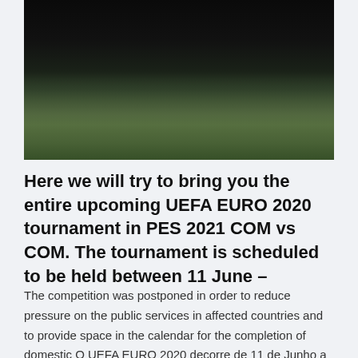[Figure (photo): Dark nighttime photo of a frost-covered football/soccer pitch grass, very dark upper half with a strip of frosted grass visible in the lower portion]
Here we will try to bring you the entire upcoming UEFA EURO 2020 tournament in PES 2021 COM vs COM. The tournament is scheduled to be held between 11 June –
The competition was postponed in order to reduce pressure on the public services in affected countries and to provide space in the calendar for the completion of domestic O UEFA EURO 2020 decorre de 11 de Junho a 11 de Julho de 2021. O novo calendário do